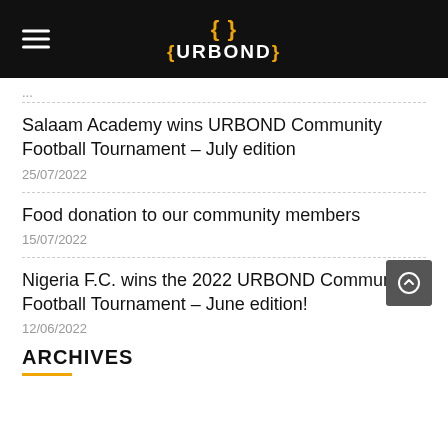{URBOND}
...
Salaam Academy wins URBOND Community Football Tournament – July edition
25/07/2022
Food donation to our community members
15/07/2022
Nigeria F.C. wins the 2022 URBOND Community Football Tournament – June edition!
12/06/2022
ARCHIVES